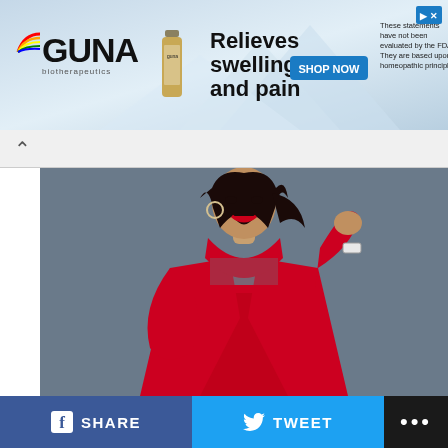[Figure (screenshot): Advertisement banner for GUNA biotherapeutics. Shows the GUNA logo with rainbow icon on the left, a bottle product image, center text reading 'Relieves swelling and pain' with a blue 'SHOP NOW' button, and right side disclaimer text about FDA statements and homeopathic principles. A blue close/external link button appears top right.]
[Figure (photo): A woman in a bright red blazer suit and matching red top smiling and posing with one hand touching her hair, against a gray studio background.]
[Figure (screenshot): Social share bar at the bottom with three buttons: Facebook SHARE (dark blue), Twitter TWEET (light blue), and a dark 'more options' button with three dots.]